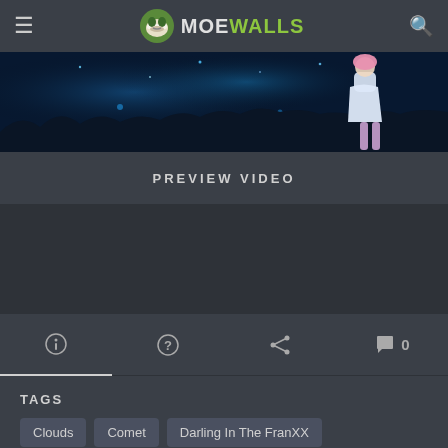MoeWalls
[Figure (screenshot): Anime night scene with dark blue sky, grass silhouettes, and an anime character in white dress with pink hair]
PREVIEW VIDEO
[Figure (other): Empty advertisement/content area]
Info, Help, Share, Comments 0 tabs
TAGS
Clouds
Comet
Darling In The FranXX
Flower Petals
Looking
Night
Pink Hair
Sky
Stars
White Dress
Zero Two